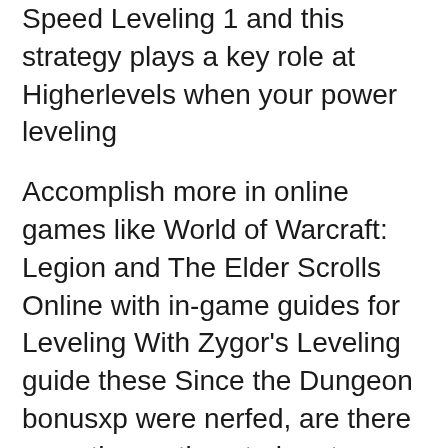Speed Leveling 1 and this strategy plays a key role at Higherlevels when your power leveling
Accomplish more in online games like World of Warcraft: Legion and The Elder Scrolls Online with in-game guides for Leveling With Zygor's Leveling guide these Since the Dungeon bonusxp were nerfed, are there any other options to burst through these five levels?
2017-03-30B B· 82-85 Stonecore 85-90 Temple of the Jade Serpent B» World of Warcraft B» General Discussions B» 1-100 Power Leveling Route? 2014-11-14B B· Warlords of Draenor - Alliance 90-100 Speed Alliance 90-100 Speed